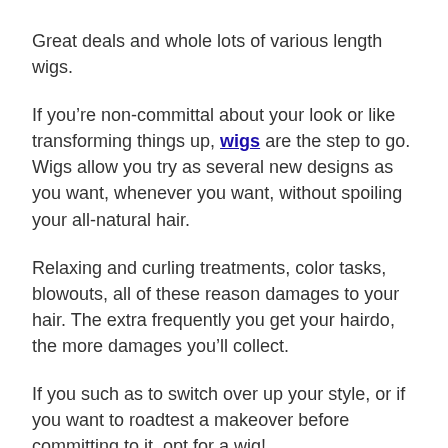Great deals and whole lots of various length wigs.
If you’re non-committal about your look or like transforming things up, wigs are the step to go. Wigs allow you try as several new designs as you want, whenever you want, without spoiling your all-natural hair.
Relaxing and curling treatments, color tasks, blowouts, all of these reason damages to your hair. The extra frequently you get your hairdo, the more damages you’ll collect.
If you such as to switch over up your style, or if you want to roadtest a makeover before committing to it, opt for a wig!